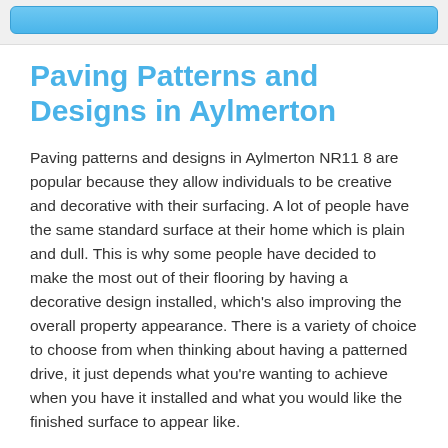[navigation button]
Paving Patterns and Designs in Aylmerton
Paving patterns and designs in Aylmerton NR11 8 are popular because they allow individuals to be creative and decorative with their surfacing. A lot of people have the same standard surface at their home which is plain and dull. This is why some people have decided to make the most out of their flooring by having a decorative design installed, which's also improving the overall property appearance. There is a variety of choice to choose from when thinking about having a patterned drive, it just depends what you're wanting to achieve when you have it installed and what you would like the finished surface to appear like.
The types of driveway surfaces which our experts can install, includes resin bound and bonded gravel, loose gravel, block paving, tarmac, imprinted concrete and concrete flags. Each of these surfacing kinds has a different look and comes with their own